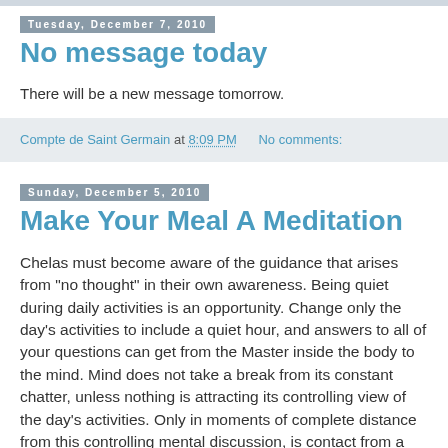Tuesday, December 7, 2010
No message today
There will be a new message tomorrow.
Compte de Saint Germain at 8:09 PM    No comments:
Sunday, December 5, 2010
Make Your Meal A Meditation
Chelas must become aware of the guidance that arises from "no thought" in their own awareness. Being quiet during daily activities is an opportunity. Change only the day's activities to include a quiet hour, and answers to all of your questions can get from the Master inside the body to the mind. Mind does not take a break from its constant chatter, unless nothing is attracting its controlling view of the day's activities. Only in moments of complete distance from this controlling mental discussion, is contact from a more aware "being"